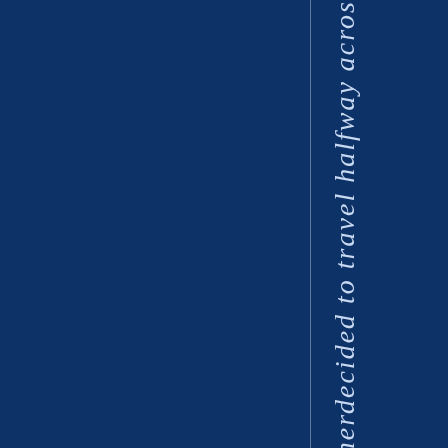[Figure (other): Dark navy blue background with a vertical white/light line dividing the page. Rotated italic text reading 'herdecided to travel halfway acros' running vertically along the right portion of the page.]